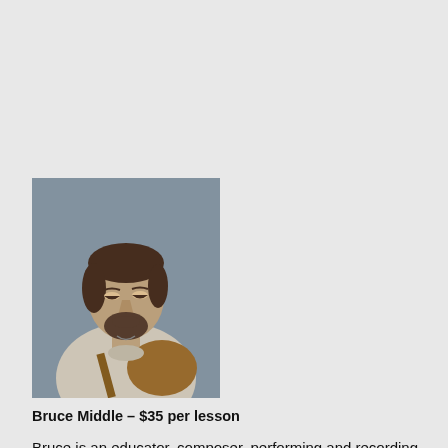[Figure (photo): Photo of Bruce Middle, a middle-aged man with a beard wearing a white shirt, looking down while playing guitar.]
Bruce Middle – $35 per lesson
Bruce is an educator, composer, performing and recording artist with over 30 years in the industry. He teaches beginners through advanced (ages 10-adult) in all styles. Ear training, Theory, Composition, Recording and